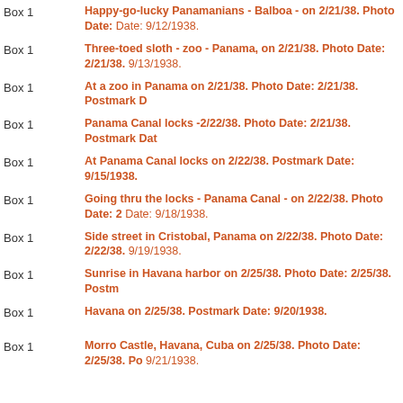Box 1 | Happy-go-lucky Panamanians - Balboa - on 2/21/38. Photo Date: ... Date: 9/12/1938.
Box 1 | Three-toed sloth - zoo - Panama, on 2/21/38. Photo Date: 2/21/38. 9/13/1938.
Box 1 | At a zoo in Panama on 2/21/38. Photo Date: 2/21/38. Postmark D...
Box 1 | Panama Canal locks -2/22/38. Photo Date: 2/21/38. Postmark Dat...
Box 1 | At Panama Canal locks on 2/22/38. Postmark Date: 9/15/1938.
Box 1 | Going thru the locks - Panama Canal - on 2/22/38. Photo Date: 2... Date: 9/18/1938.
Box 1 | Side street in Cristobal, Panama on 2/22/38. Photo Date: 2/22/38. 9/19/1938.
Box 1 | Sunrise in Havana harbor on 2/25/38. Photo Date: 2/25/38. Postm...
Box 1 | Havana on 2/25/38. Postmark Date: 9/20/1938.
Box 1 | Morro Castle, Havana, Cuba on 2/25/38. Photo Date: 2/25/38. Po... 9/21/1938.